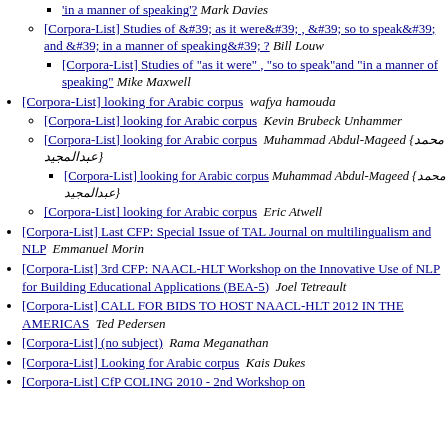[Corpora-List] Studies of &#39; as it were&#39; , &#39; so to speak&#39; and &#39; in a manner of speaking&#39; ?  Bill Louw
[Corpora-List] Studies of "as it were" , "so to speak"and "in a manner of speaking"  Mike Maxwell
[Corpora-List] looking for Arabic corpus  wafya hamouda
[Corpora-List] looking for Arabic corpus  Kevin Brubeck Unhammer
[Corpora-List] looking for Arabic corpus  Muhammad Abdul-Mageed {محمد عبدالمجيد}
[Corpora-List] looking for Arabic corpus  Muhammad Abdul-Mageed {محمد عبدالمجيد}
[Corpora-List] looking for Arabic corpus  Eric Atwell
[Corpora-List] Last CFP: Special Issue of TAL Journal on multilingualism and NLP  Emmanuel Morin
[Corpora-List] 3rd CFP: NAACL-HLT Workshop on the Innovative Use of NLP for Building Educational Applications (BEA-5)  Joel Tetreault
[Corpora-List] CALL FOR BIDS TO HOST NAACL-HLT 2012 IN THE AMERICAS  Ted Pedersen
[Corpora-List] (no subject)  Rama Meganathan
[Corpora-List] Looking for Arabic corpus  Kais Dukes
[Corpora-List] CfP COLING 2010 - 2nd Workshop on